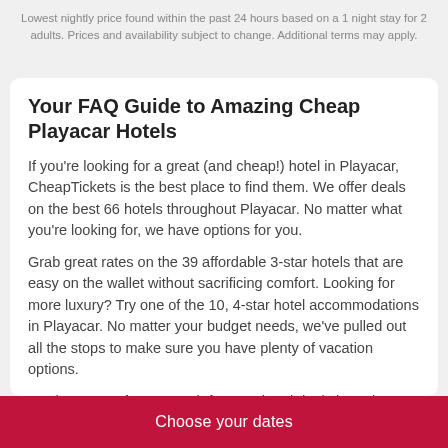Lowest nightly price found within the past 24 hours based on a 1 night stay for 2 adults. Prices and availability subject to change. Additional terms may apply.
Your FAQ Guide to Amazing Cheap Playacar Hotels
If you're looking for a great (and cheap!) hotel in Playacar, CheapTickets is the best place to find them. We offer deals on the best 66 hotels throughout Playacar. No matter what you're looking for, we have options for you.
Grab great rates on the 39 affordable 3-star hotels that are easy on the wallet without sacrificing comfort. Looking for more luxury? Try one of the 10, 4-star hotel accommodations in Playacar. No matter your budget needs, we've pulled out all the stops to make sure you have plenty of vacation options.
Maybe you prefer to search for your hotel deals based on what each hotel offers? For example, let's say you just want to find a hotel or resort that has a pool to cool off in after a long day exploring Playacar. Scroll down to choose from the 29 hotels in Playacar that has a pool for guests. Or search for deals on
Choose your dates